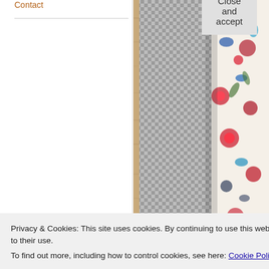Contact
[Figure (photo): Clothing items including gingham check fabric and floral patterned fabric laid on a wooden surface]
Privacy & Cookies: This site uses cookies. By continuing to use this website, you agree to their use.
To find out more, including how to control cookies, see here: Cookie Policy
Close and accept
I'd put them on here for wider sale. N